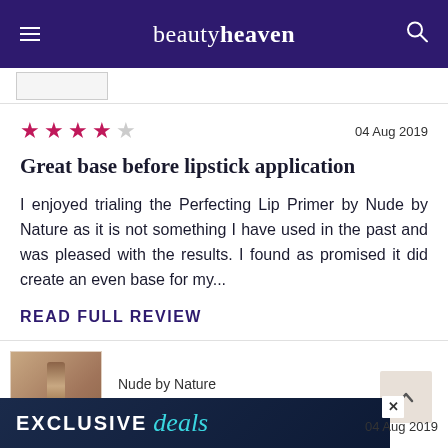beautyheaven
[Figure (screenshot): Thumbnail image strip]
★★★★☆  04 Aug 2019
Great base before lipstick application
I enjoyed trialing the Perfecting Lip Primer by Nude by Nature as it is not something I have used in the past and was pleased with the results. I found as promised it did create an even base for my...
READ FULL REVIEW
Nude by Nature
Sheer Glow Colour Balm
[Figure (photo): Product photo of a lip balm/lipstick product in bronze/nude colour]
[Figure (infographic): EXCLUSIVE deals advertisement banner]
04 Aug 2019